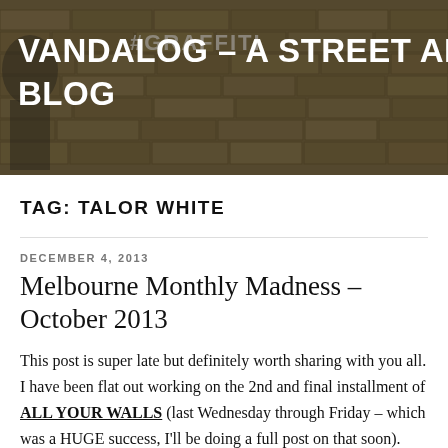[Figure (photo): Header banner photo of a brick wall with graffiti text '#GRAFFITI' visible, with a person partially visible on the left side. Dark overlay applied.]
VANDALOG – A STREET ART BLOG
TAG: TALOR WHITE
DECEMBER 4, 2013
Melbourne Monthly Madness – October 2013
This post is super late but definitely worth sharing with you all. I have been flat out working on the 2nd and final installment of ALL YOUR WALLS (last Wednesday through Friday – which was a HUGE success, I'll be doing a full post on that soon). October's post is short and sweet with some amazing content. Take some time to watch the videos and check out some of the awesome